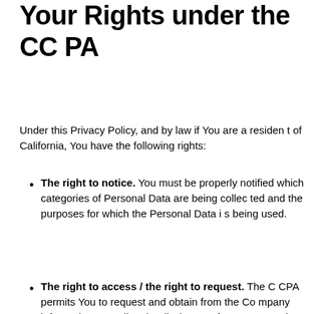Your Rights under the CCPA
Under this Privacy Policy, and by law if You are a resident of California, You have the following rights:
The right to notice. You must be properly notified which categories of Personal Data are being collected and the purposes for which the Personal Data is being used.
The right to access / the right to request. The CCPA permits You to request and obtain from the Company information regarding the disclosure of Your Personal Data that has been collected in the past 1